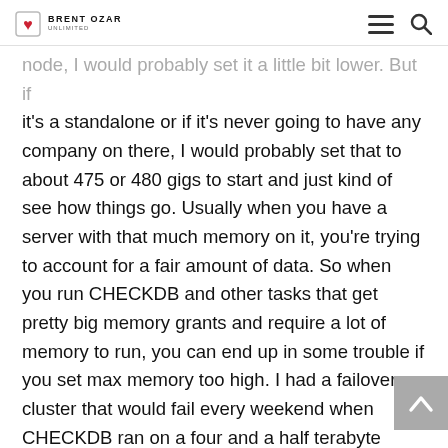BRENT OZAR UNLIMITED
node, I would probably set it a little bit lower. But if it's a standalone or if it's never going to have any company on there, I would probably set that to about 475 or 480 gigs to start and just kind of see how things go. Usually when you have a server with that much memory on it, you're trying to account for a fair amount of data. So when you run CHECKDB and other tasks that get pretty big memory grants and require a lot of memory to run, you can end up in some trouble if you set max memory too high. I had a failover cluster that would fail every weekend when CHECKDB ran on a four and a half terabyte database, really just setting max memory down a little bit lower to 480 solved it. It was set to 500 before that.